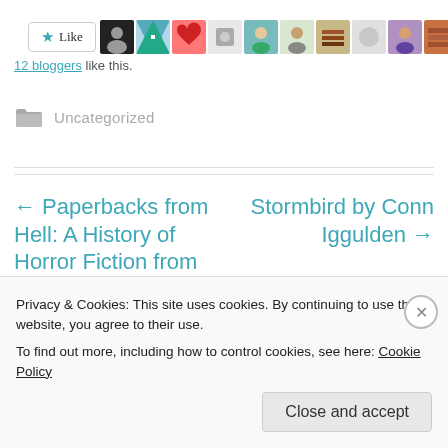[Figure (screenshot): Like button and blogger avatar thumbnails row]
12 bloggers like this.
Uncategorized (with folder icon)
← Paperbacks from Hell: A History of Horror Fiction from the 70s and 80s by
Stormbird by Conn Iggulden →
Privacy & Cookies: This site uses cookies. By continuing to use this website, you agree to their use.
To find out more, including how to control cookies, see here: Cookie Policy